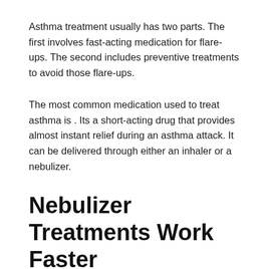Asthma treatment usually has two parts. The first involves fast-acting medication for flare-ups. The second includes preventive treatments to avoid those flare-ups.
The most common medication used to treat asthma is . Its a short-acting drug that provides almost instant relief during an asthma attack. It can be delivered through either an inhaler or a nebulizer.
Nebulizer Treatments Work Faster
According to , Albuterol, the most common bronchodilator used to treat inflammation in the airways, starts working approximately five minutes after you begin your nebulizer treatment. However, if you were to take the same medicine